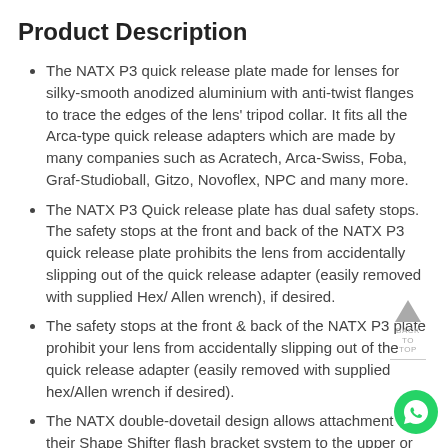Product Description
The NATX P3 quick release plate made for lenses for silky-smooth anodized aluminium with anti-twist flanges to trace the edges of the lens' tripod collar. It fits all the Arca-type quick release adapters which are made by many companies such as Acratech, Arca-Swiss, Foba, Graf-Studioball, Gitzo, Novoflex, NPC and many more.
The NATX P3 Quick release plate has dual safety stops. The safety stops at the front and back of the NATX P3 quick release plate prohibits the lens from accidentally slipping out of the quick release adapter (easily removed with supplied Hex/ Allen wrench), if desired.
The safety stops at the front & back of the NATX P3 plate prohibit your lens from accidentally slipping out of the quick release adapter (easily removed with supplied hex/Allen wrench if desired).
The NATX double-dovetail design allows attachment of their Shape Shifter flash bracket system to the upper or lower surface of the P3 plate.
Works with All Common Flash Brackets.
Drilled holes accepted flash arms from Kirk & Really Right